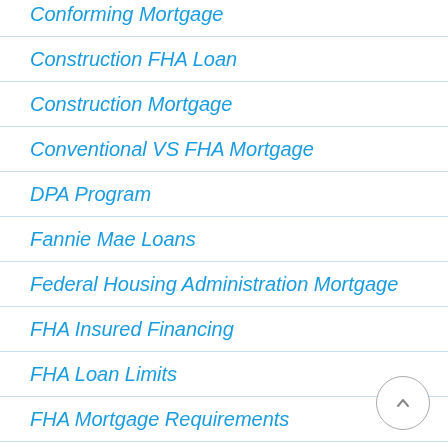Conforming Mortgage
Construction FHA Loan
Construction Mortgage
Conventional VS FHA Mortgage
DPA Program
Fannie Mae Loans
Federal Housing Administration Mortgage
FHA Insured Financing
FHA Loan Limits
FHA Mortgage Requirements
First Time Home Buyers Program
Fixed Mortgage Rates